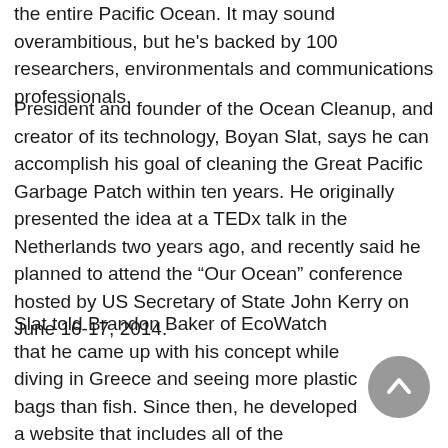the entire Pacific Ocean. It may sound overambitious, but he's backed by 100 researchers, environmentals and communications professionals.
President and founder of the Ocean Cleanup, and creator of its technology, Boyan Slat, says he can accomplish his goal of cleaning the Great Pacific Garbage Patch within ten years. He originally presented the idea at a TEDx talk in the Netherlands two years ago, and recently said he planned to attend the “Our Ocean” conference hosted by US Secretary of State John Kerry on June 16-17, 2014.
Slat told Brandon Baker of EcoWatch that he came up with his concept while diving in Greece and seeing more plastic bags than fish. Since then, he developed a website that includes all of the technology’s specs, a feasibility study and a campaign to fund it. He says his team has